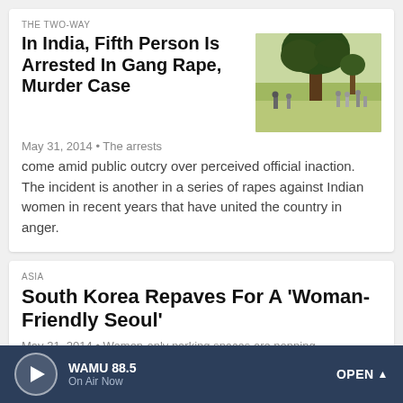THE TWO-WAY
In India, Fifth Person Is Arrested In Gang Rape, Murder Case
[Figure (photo): People gathered near a tree in a rural area, possibly a crime scene in India]
May 31, 2014 • The arrests come amid public outcry over perceived official inaction. The incident is another in a series of rapes against Indian women in recent years that have united the country in anger.
ASIA
South Korea Repaves For A 'Woman-Friendly Seoul'
May 31, 2014 • Women-only parking spaces are popping up all over Seoul, South Korea. They are wider, longer and painted pink. It's the city's effort to make a more female-friendly city.
WAMU 88.5 · On Air Now · OPEN